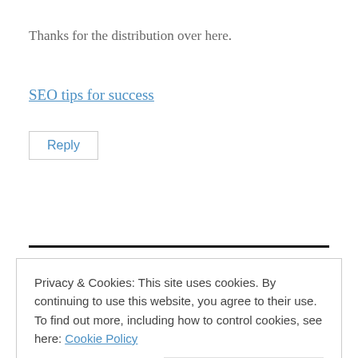Thanks for the distribution over here.
SEO tips for success
Reply
Privacy & Cookies: This site uses cookies. By continuing to use this website, you agree to their use.
To find out more, including how to control cookies, see here: Cookie Policy
Close and accept